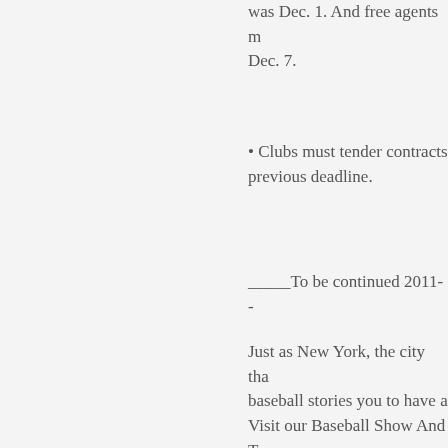was Dec. 1. And free agents may sign Dec. 7.
• Clubs must tender contracts by the previous deadline.
_____To be continued 2011--
Just as New York, the city tha baseball stories you to have a Visit our Baseball Show And T
Click here at the Major Leagu your shared story and becom
Come visit you will enjoy our